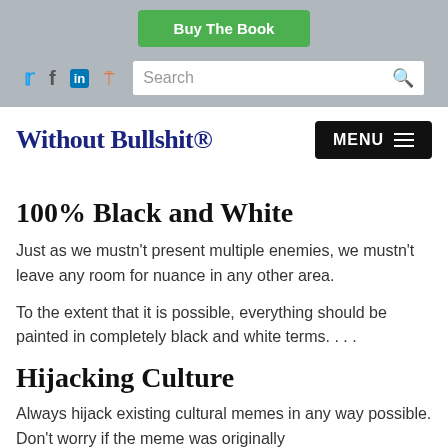Buy The Book
Social icons and Search bar
Without Bullshit®
100% Black and White
Just as we mustn't present multiple enemies, we mustn't leave any room for nuance in any other area.
To the extent that it is possible, everything should be painted in completely black and white terms. . . .
Hijacking Culture
Always hijack existing cultural memes in any way possible. Don't worry if the meme was originally